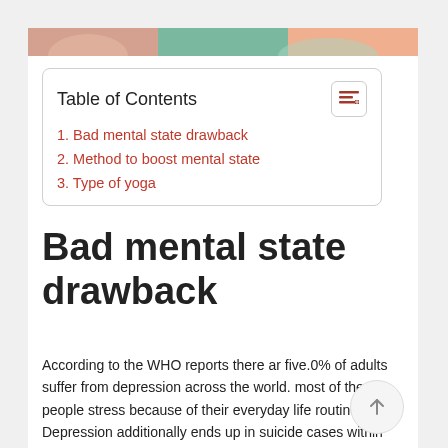[Figure (illustration): Partial view of a colorful illustration with figures/people at the top of the page]
| Table of Contents |
| --- |
| 1. Bad mental state drawback |
| 2. Method to boost mental state |
| 3. Type of yoga |
Bad mental state drawback
According to the WHO reports there ar five.0% of adults suffer from depression across the world. most of the people stress because of their everyday life routines. Depression additionally ends up in suicide cases within the world. girls ar a lot of girls affected than men.
Symptoms of depression are feeling unhappy,